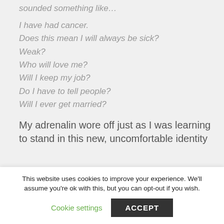sounded something like…
I have had cancer.
Does this mean I will always be sick?
Weak?
Who will love me?
Will I keep my job?
Do I have to tell people?
Will I ever get married?
My adrenalin wore off just as I was learning to stand in this new, uncomfortable identity
This website uses cookies to improve your experience. We'll assume you're ok with this, but you can opt-out if you wish.
Cookie settings
ACCEPT